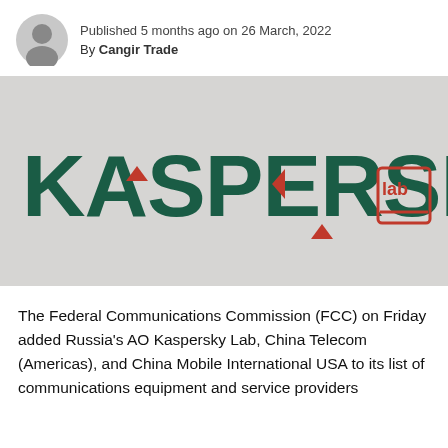Published 5 months ago on 26 March, 2022
By Cangir Trade
[Figure (photo): Kaspersky Lab logo mounted on a light gray wall — dark green lettering spelling KASPERSKY with red accent triangles/shapes, and 'lab' in a stylized red badge on the right.]
The Federal Communications Commission (FCC) on Friday added Russia's AO Kaspersky Lab, China Telecom (Americas), and China Mobile International USA to its list of communications equipment and service providers